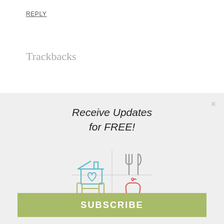REPLY
Trackbacks
[Figure (infographic): Modal popup with 'Receive Updates for FREE!' heading, four icons (house with heart, crossed fork and knife, dumbbell, apple), a close X button, and a green SUBSCRIBE button.]